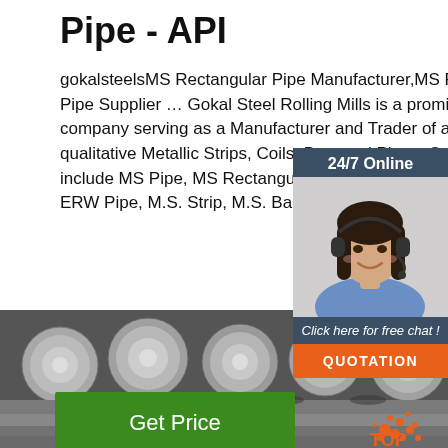Pipe - API
gokalsteelsMS Rectangular Pipe Manufacturer,MS Round Pipe Supplier … Gokal Steel Rolling Mills is a prominent company serving as a Manufacturer and Trader of a qualitative Metallic Strips, Coils, Bars and Pipes. Our offerings include MS Pipe, MS Rectangular Pipe, MS Round Pipe, ERW Pipe, M.S. Strip, M.S. Bar and many oth...
[Figure (photo): Customer service representative (woman with headset) with 24/7 Online chat widget showing 'Click here for free chat!' and QUOTATION button]
Get Price
[Figure (photo): Stack of steel round bars/pipes viewed from the end, with orange TOP logo in bottom right corner]